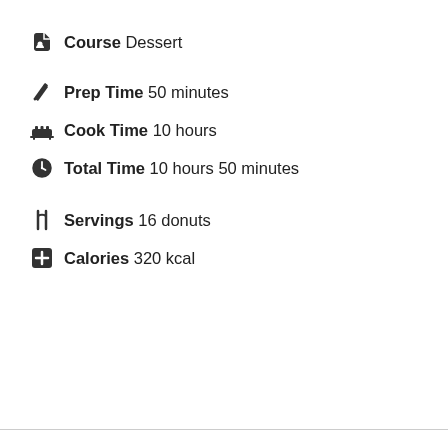Course Dessert
Prep Time 50 minutes
Cook Time 10 hours
Total Time 10 hours 50 minutes
Servings 16 donuts
Calories 320 kcal